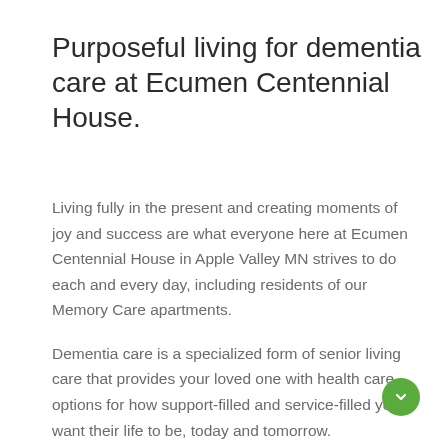Purposeful living for dementia care at Ecumen Centennial House.
Living fully in the present and creating moments of joy and success are what everyone here at Ecumen Centennial House in Apple Valley MN strives to do each and every day, including residents of our Memory Care apartments.
Dementia care is a specialized form of senior living care that provides your loved one with health care options for how support-filled and service-filled you want their life to be, today and tomorrow.
Our residents with memory loss live in comfort